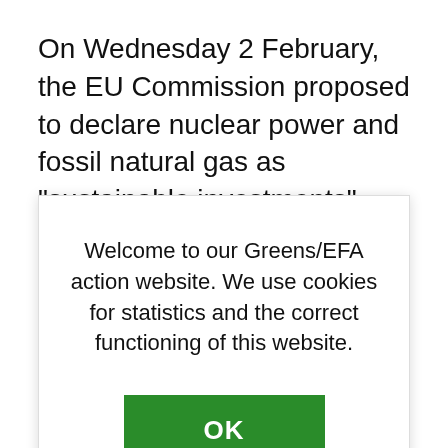On Wednesday 2 February, the EU Commission proposed to declare nuclear power and fossil natural gas as "sustainable investments". This will not only call European climate neutrality into question, it will also increase our dependency on the import of fossil fuel including from dubious
Welcome to our Greens/EFA action website. We use cookies for statistics and the correct functioning of this website.
OK
transition. Our best guarantee for secure, sustainable and affordable energy is scaling up